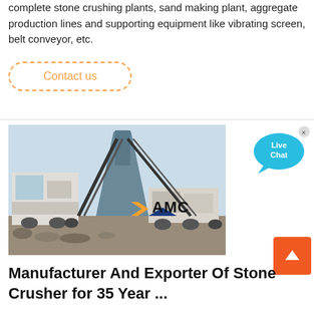complete stone crushing plants, sand making plant, aggregate production lines and supporting equipment like vibrating screen, belt conveyor, etc.
Contact us
[Figure (photo): Industrial stone crushing plant with large conveyor structure and AMC logo overlay, heavy machinery on site.]
[Figure (illustration): Live Chat speech bubble icon in cyan/blue]
Manufacturer And Exporter Of Stone Crusher for 35 Year ...